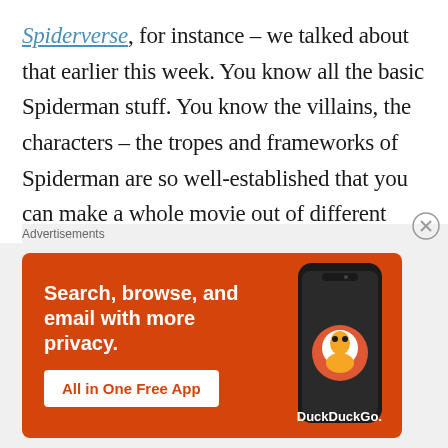Spiderverse, for instance – we talked about that earlier this week. You know all the basic Spiderman stuff. You know the villains, the characters – the tropes and frameworks of Spiderman are so well-established that you can make a whole movie out of different versions of that overarching framework coming together. The specific material manifestations of the Spiderman concept serve as a source of joy purely by the variations and specificities present in each particular
[Figure (other): DuckDuckGo advertisement banner with orange background showing 'Search, browse, and email with more privacy. All in One Free App' text and a phone image with DuckDuckGo logo]